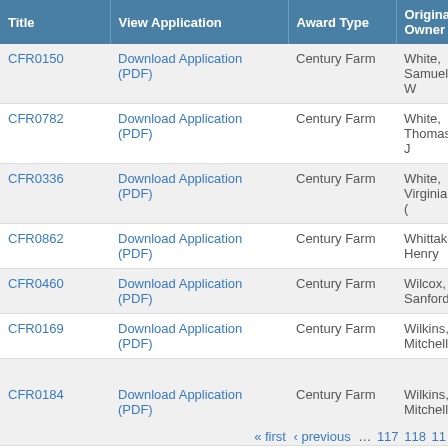| Title | View Application | Award Type | Original Owner |
| --- | --- | --- | --- |
| CFR0150 | Download Application (PDF) | Century Farm | White, Samuel W |
| CFR0782 | Download Application (PDF) | Century Farm | White, Thomas J |
| CFR0336 | Download Application (PDF) | Century Farm | White, Virginia ( |
| CFR0862 | Download Application (PDF) | Century Farm | Whittaker, Henry |
| CFR0460 | Download Application (PDF) | Century Farm | Wilcox, Sanford |
| CFR0169 | Download Application (PDF) | Century Farm | Wilkins, Mitchell |
| CFR0184 | Download Application (PDF) | Century Farm | Wilkins, Mitchell |
| CFR0762 | Download Application (PDF) | Century Farm | Wilkinson, James |
| CFR1241 |  | Century Farm | William C. Sieve |
« first  ‹ previous  …  117  118  11